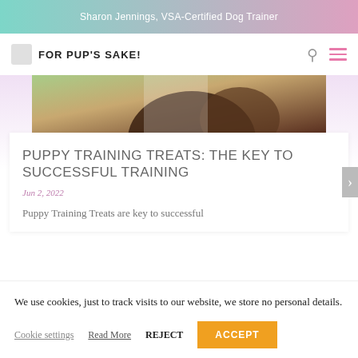Sharon Jennings, VSA-Certified Dog Trainer
FOR PUP'S SAKE!
[Figure (photo): Partial photo of a dog from behind, showing dark fur with a green outdoor background]
PUPPY TRAINING TREATS: THE KEY TO SUCCESSFUL TRAINING
Jun 2, 2022
Puppy Training Treats are key to successful
We use cookies, just to track visits to our website, we store no personal details.
Cookie settings   Read More   REJECT   ACCEPT